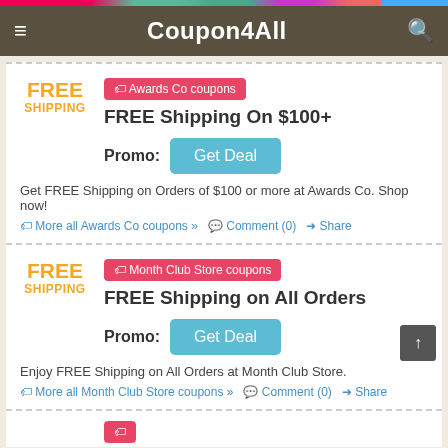Coupon4All
FREE SHIPPING | Awards Co coupons | FREE Shipping On $100+ | Promo: Get Deal
Get FREE Shipping on Orders of $100 or more at Awards Co. Shop now!
More all Awards Co coupons » Comment (0) Share
FREE SHIPPING | Month Club Store coupons | FREE Shipping on All Orders | Promo: Get Deal
Enjoy FREE Shipping on All Orders at Month Club Store.
More all Month Club Store coupons » Comment (0) Share